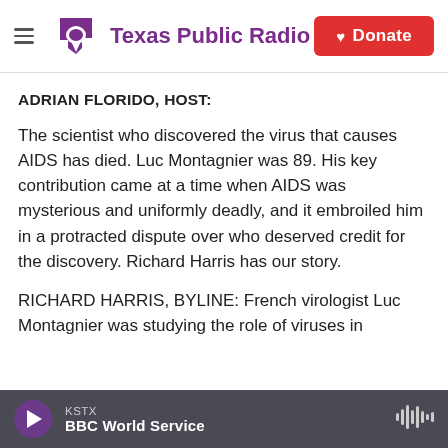Texas Public Radio — Donate
ADRIAN FLORIDO, HOST:
The scientist who discovered the virus that causes AIDS has died. Luc Montagnier was 89. His key contribution came at a time when AIDS was mysterious and uniformly deadly, and it embroiled him in a protracted dispute over who deserved credit for the discovery. Richard Harris has our story.
RICHARD HARRIS, BYLINE: French virologist Luc Montagnier was studying the role of viruses in
KSTX — BBC World Service